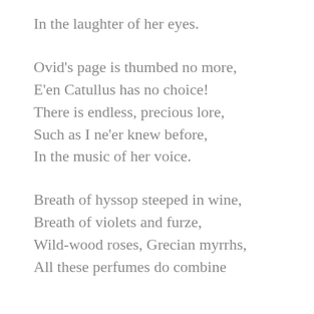In the laughter of her eyes.
Ovid's page is thumbed no more,
E'en Catullus has no choice!
There is endless, precious lore,
Such as I ne'er knew before,
In the music of her voice.
Breath of hyssop steeped in wine,
Breath of violets and furze,
Wild-wood roses, Grecian myrrhs,
All these perfumes do combine